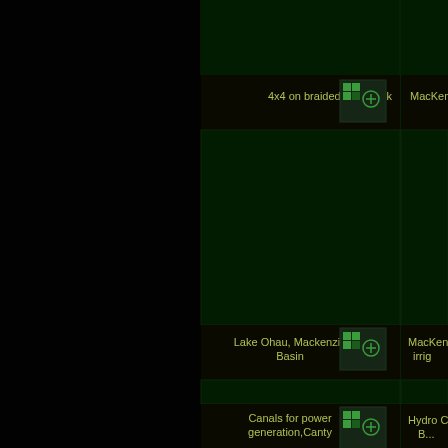[Figure (screenshot): Screenshot of what appears to be a GIS or image gallery interface with a dark background. The left portion is mostly black with two vertical orange/gold lines. The right portion shows a grid layout with dark green cells. Three rows of content are visible: Row 1 at top shows '4x4 on braided river bank' text label with a small icon (green grid squares and circle-plus symbol) and 'MacKenzie' partial text. Row 2 in middle shows 'Lake Ohau, Mackenzie Basin' text label with icon and 'MacKenzie irrig' partial text. Row 3 at bottom shows 'Canals for power generation,Canty' text label with icon and 'Hydro Cana... B...' partial text. Each row has large dark green image placeholder cells separated by borders.]